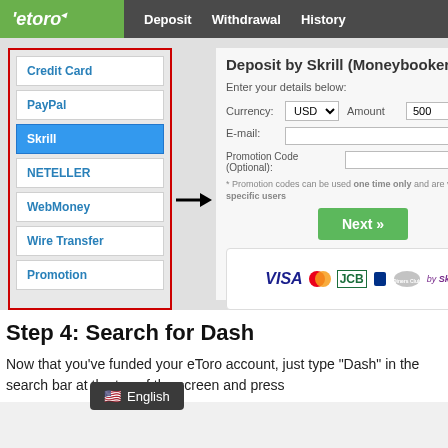eToro — Deposit | Withdrawal | History
[Figure (screenshot): eToro deposit page screenshot showing left sidebar with payment method options (Credit Card, PayPal, Skrill selected/highlighted in blue, NETELLER, WebMoney, Wire Transfer, Promotion) surrounded by a red border, and right panel showing 'Deposit by Skrill (Moneybookers)' form with Currency USD, Amount 500, E-mail field, Promotion Code field, Next button, and payment logos (VISA, Mastercard, JCB, Diners Club) with 'by Skrill' label. A black arrow points from the sidebar to the right panel.]
Step 4: Search for Dash
Now that you've funded your eToro account, just type "Dash" in the search bar at the top of the screen and press